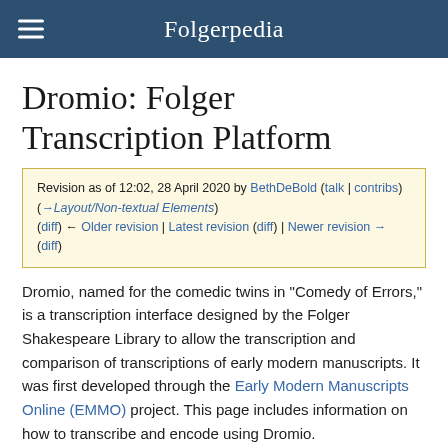Folgerpedia
Dromio: Folger Transcription Platform
Revision as of 12:02, 28 April 2020 by BethDeBold (talk | contribs) (→Layout/Non-textual Elements) (diff) ← Older revision | Latest revision (diff) | Newer revision → (diff)
Dromio, named for the comedic twins in "Comedy of Errors," is a transcription interface designed by the Folger Shakespeare Library to allow the transcription and comparison of transcriptions of early modern manuscripts. It was first developed through the Early Modern Manuscripts Online (EMMO) project. This page includes information on how to transcribe and encode using Dromio.
Contents